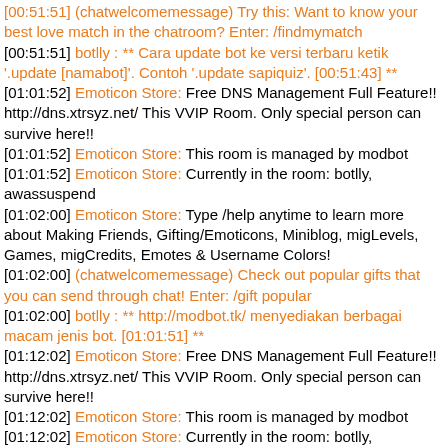[00:51:51] (chatwelcomemessage) Try this: Want to know your best love match in the chatroom? Enter: /findmymatch
[00:51:51] botlly : ** Cara update bot ke versi terbaru ketik '.update [namabot]'. Contoh '.update sapiquiz'. [00:51:43] **
[01:01:52] Emoticon Store: Free DNS Management Full Feature!! http://dns.xtrsyz.net/ This VVIP Room. Only special person can survive here!!
[01:01:52] Emoticon Store: This room is managed by modbot
[01:01:52] Emoticon Store: Currently in the room: botlly, awassuspend
[01:02:00] Emoticon Store: Type /help anytime to learn more about Making Friends, Gifting/Emoticons, Miniblog, migLevels, Games, migCredits, Emotes & Username Colors!
[01:02:00] (chatwelcomemessage) Check out popular gifts that you can send through chat! Enter: /gift popular
[01:02:00] botlly : ** http://modbot.tk/ menyediakan berbagai macam jenis bot. [01:01:51] **
[01:12:02] Emoticon Store: Free DNS Management Full Feature!! http://dns.xtrsyz.net/ This VVIP Room. Only special person can survive here!!
[01:12:02] Emoticon Store: This room is managed by modbot
[01:12:02] Emoticon Store: Currently in the room: botlly, awassuspend